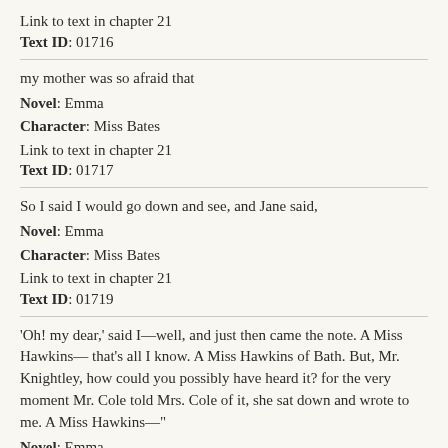Link to text in chapter 21
Text ID: 01716
my mother was so afraid that
Novel: Emma
Character: Miss Bates
Link to text in chapter 21
Text ID: 01717
So I said I would go down and see, and Jane said,
Novel: Emma
Character: Miss Bates
Link to text in chapter 21
Text ID: 01719
'Oh! my dear,' said I—well, and just then came the note. A Miss Hawkins— that's all I know. A Miss Hawkins of Bath. But, Mr. Knightley, how could you possibly have heard it? for the very moment Mr. Cole told Mrs. Cole of it, she sat down and wrote to me. A Miss Hawkins—"
Novel: Emma